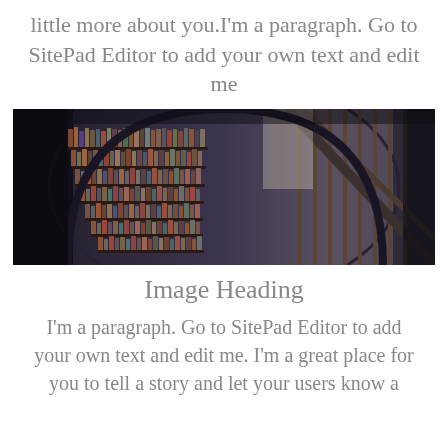little more about you.I'm a paragraph. Go to SitePad Editor to add your own text and edit me
[Figure (photo): Interior of a large circular library with curved shelves filled with books and a staircase railing on the right, photographed from below looking up]
Image Heading
I'm a paragraph. Go to SitePad Editor to add your own text and edit me. I'm a great place for you to tell a story and let your users know a